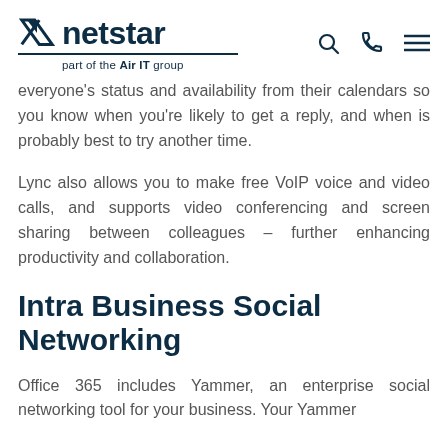netstar — part of the Air IT group
everyone's status and availability from their calendars so you know when you're likely to get a reply, and when is probably best to try another time.
Lync also allows you to make free VoIP voice and video calls, and supports video conferencing and screen sharing between colleagues – further enhancing productivity and collaboration.
Intra Business Social Networking
Office 365 includes Yammer, an enterprise social networking tool for your business. Your Yammer